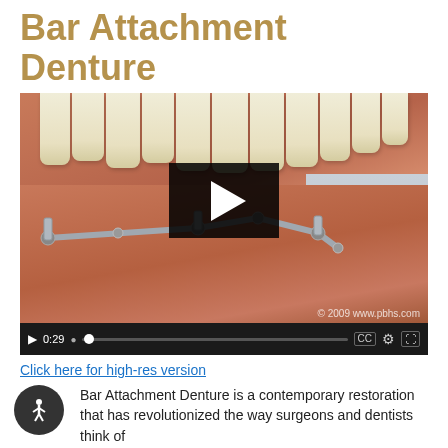Bar Attachment Denture
[Figure (screenshot): Video player showing a 3D dental animation of a bar attachment denture implant system on the lower jaw with teeth visible above. Controls show 0:29 duration. Copyright 2009 www.pbhs.com.]
Click here for high-res version
Bar Attachment Denture is a contemporary restoration that has revolutionized the way surgeons and dentists think of